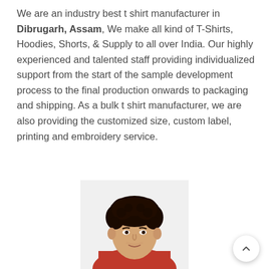We are an industry best t shirt manufacturer in Dibrugarh, Assam, We make all kind of T-Shirts, Hoodies, Shorts, & Supply to all over India. Our highly experienced and talented staff providing individualized support from the start of the sample development process to the final production onwards to packaging and shipping. As a bulk t shirt manufacturer, we are also providing the customized size, custom label, printing and embroidery service.
[Figure (photo): Photo of a young man with curly dark hair wearing a red shirt, shown from shoulders up]